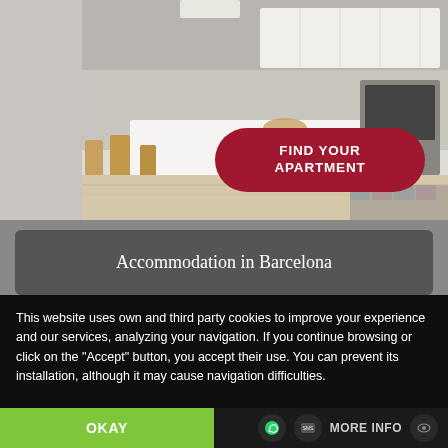[Figure (photo): Kitchen/apartment interior photo showing white cabinets, kitchen island with wooden plate, wooden chairs, and hardwood floors with patterned tile accents. A red pill-shaped button with 'FIND YOUR APARTMENT' overlaid on the image.]
FIND YOUR APARTMENT
Accommodation in Barcelona
This website uses own and third party cookies to improve your experience and our services, analyzing your navigation. If you continue browsing or click on the "Accept" button, you accept their use. You can prevent its installation, although it may cause navigation difficulties.
OKAY
MORE INFO